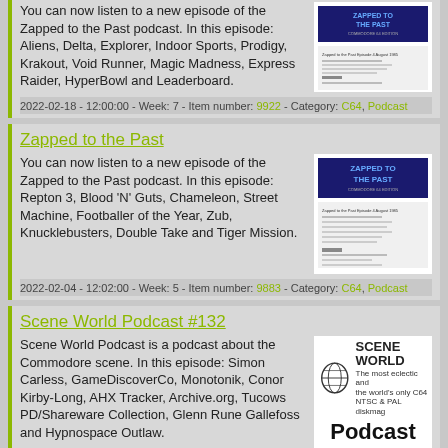You can now listen to a new episode of the Zapped to the Past podcast. In this episode: Aliens, Delta, Explorer, Indoor Sports, Prodigy, Krakout, Void Runner, Magic Madness, Express Raider, HyperBowl and Leaderboard.
[Figure (screenshot): Zapped to the Past podcast episode image]
2022-02-18 - 12:00:00 - Week: 7 - Item number: 9922 - Category: C64, Podcast
Zapped to the Past
You can now listen to a new episode of the Zapped to the Past podcast. In this episode: Repton 3, Blood 'N' Guts, Chameleon, Street Machine, Footballer of the Year, Zub, Knucklebusters, Double Take and Tiger Mission.
[Figure (screenshot): Zapped to the Past podcast episode image]
2022-02-04 - 12:02:00 - Week: 5 - Item number: 9883 - Category: C64, Podcast
Scene World Podcast #132
Scene World Podcast is a podcast about the Commodore scene. In this episode: Simon Carless, GameDiscoverCo, Monotonik, Conor Kirby-Long, AHX Tracker, Archive.org, Tucows PD/Shareware Collection, Glenn Rune Gallefoss and Hypnospace Outlaw.
[Figure (logo): Scene World Podcast logo]
2022-01-28 - 12:19:00 - Week: 4 - Item number: 9875 - Category: Commodore,